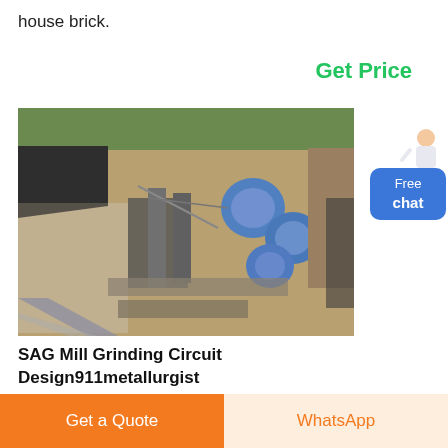house brick.
Get Price
[Figure (photo): Aerial/overhead view of a SAG Mill grinding circuit site, showing industrial equipment, mill drums, conveyor structures, and construction area.]
SAG Mill Grinding Circuit Design911metallurgist
Get a Quote
WhatsApp